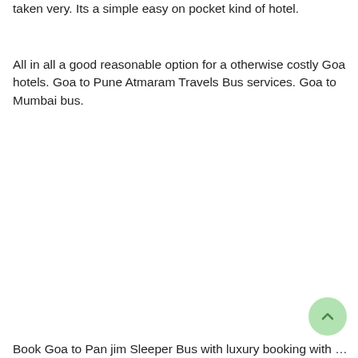taken very. Its a simple easy on pocket kind of hotel.
All in all a good reasonable option for a otherwise costly Goa hotels. Goa to Pune Atmaram Travels Bus services. Goa to Mumbai bus.
Book Goa to Panjim Sleeper Bus with luxury booking with Ele...